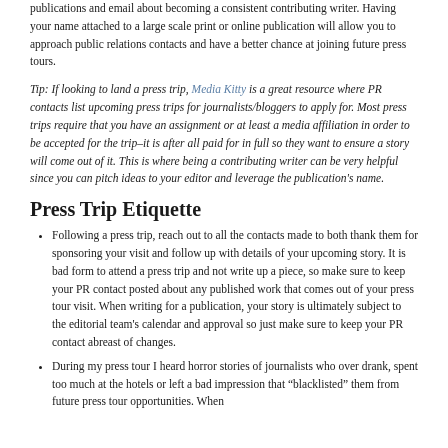publications and email about becoming a consistent contributing writer. Having your name attached to a large scale print or online publication will allow you to approach public relations contacts and have a better chance at joining future press tours.
Tip: If looking to land a press trip, Media Kitty is a great resource where PR contacts list upcoming press trips for journalists/bloggers to apply for. Most press trips require that you have an assignment or at least a media affiliation in order to be accepted for the trip–it is after all paid for in full so they want to ensure a story will come out of it. This is where being a contributing writer can be very helpful since you can pitch ideas to your editor and leverage the publication's name.
Press Trip Etiquette
Following a press trip, reach out to all the contacts made to both thank them for sponsoring your visit and follow up with details of your upcoming story. It is bad form to attend a press trip and not write up a piece, so make sure to keep your PR contact posted about any published work that comes out of your press tour visit. When writing for a publication, your story is ultimately subject to the editorial team's calendar and approval so just make sure to keep your PR contact abreast of changes.
During my press tour I heard horror stories of journalists who over drank, spent too much at the hotels or left a bad impression that “blacklisted” them from future press tour opportunities. When